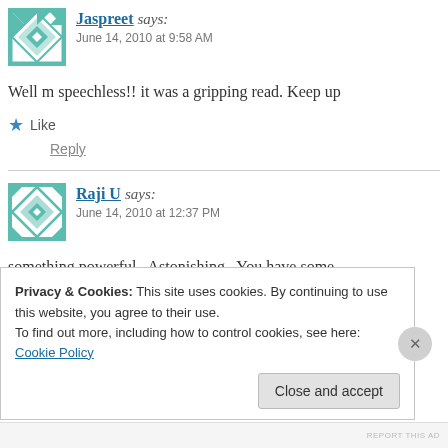Jaspreet says: June 14, 2010 at 9:58 AM
Well m speechless!! it was a gripping read. Keep up
Like
Reply
Raji U says: June 14, 2010 at 12:37 PM
something powerful.. Astonishing.. You have some
Privacy & Cookies: This site uses cookies. By continuing to use this website, you agree to their use.
To find out more, including how to control cookies, see here: Cookie Policy
Close and accept